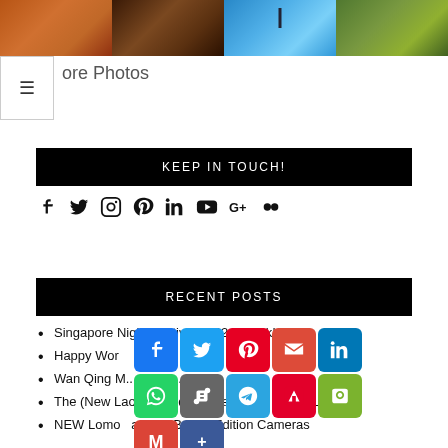[Figure (photo): Strip of four photos: city buildings, wooden structure, bird on blue sky, bird on grass]
ore Photos
KEEP IN TOUCH!
[Figure (infographic): Social media icons row: Facebook, Twitter, Instagram, Pinterest, LinkedIn, YouTube, Google+, Flickr]
RECENT POSTS
Singapore Night Festival 2022 is back!
Happy Wor... ra... D 202...
Wan Qing M... A... tiv... 202...
The (New LaoSafe) Adventure Awaits You in Laos!
NEW Lomo... apulco Beach Edition Cameras
[Figure (infographic): Social share button overlay with Facebook, Twitter, Pinterest, Email, LinkedIn, WhatsApp, Copy, Telegram, Flipboard, WeChat, Gmail, AddThis buttons]